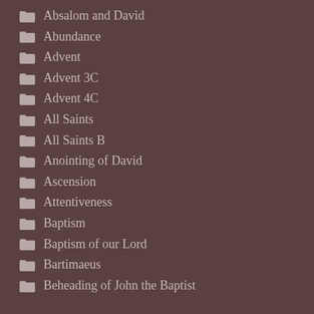Absalom and David
Abundance
Advent
Advent 3C
Advent 4C
All Saints
All Saints B
Anointing of David
Ascension
Attentiveness
Baptism
Baptism of our Lord
Bartimaeus
Beheading of John the Baptist